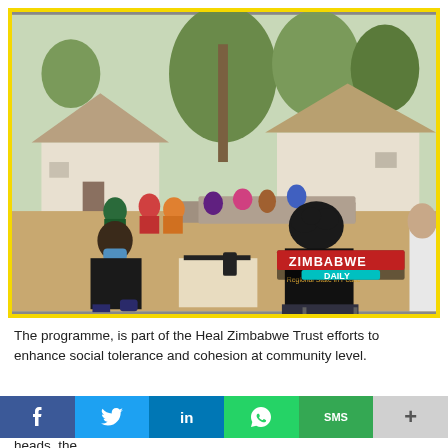[Figure (photo): Outdoor community meeting in a rural Zimbabwean village. People sit in a semi-circle outside thatched-roof huts. In the foreground, a man in a black shirt and face mask sits across from a woman in a black t-shirt reading 'Regional State in Peace'. A watermark reads 'ZIMBABWE DAILY' in red and cyan.]
The programme, is part of the Heal Zimbabwe Trust efforts to enhance social tolerance and cohesion at community level.
heads, the